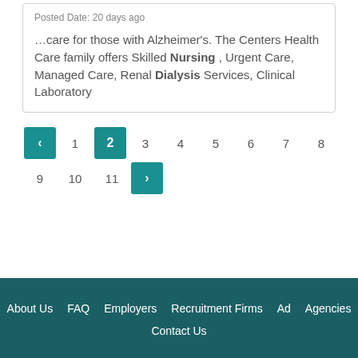Posted Date: 20 days ago
…care for those with Alzheimer's. The Centers Health Care family offers Skilled Nursing , Urgent Care, Managed Care, Renal Dialysis Services, Clinical Laboratory
< 1 2 3 4 5 6 7 8 9 10 11 >
About Us  FAQ  Employers  Recruitment Firms  Ad Agencies  Contact Us